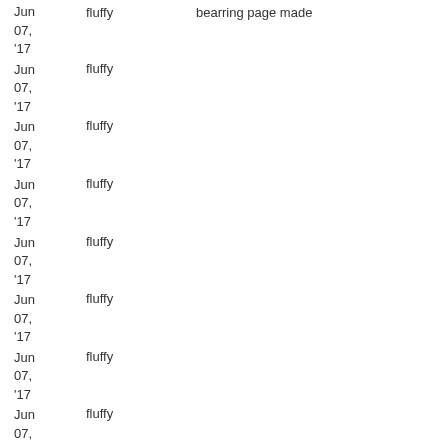| Date | User | Action |
| --- | --- | --- |
| Jun 07, '17 | fluffy | bearring page made |
| Jun 07, '17 | fluffy |  |
| Jun 07, '17 | fluffy |  |
| Jun 07, '17 | fluffy |  |
| Jun 07, '17 | fluffy |  |
| Jun 07, '17 | fluffy |  |
| Jun 07, '17 | fluffy |  |
| Jun 07, '17 | fluffy |  |